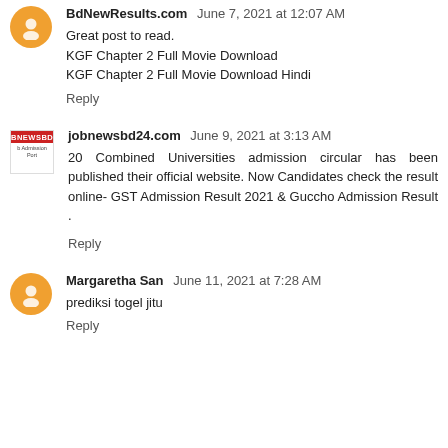BdNewResults.com June 7, 2021 at 12:07 AM
Great post to read.
KGF Chapter 2 Full Movie Download
KGF Chapter 2 Full Movie Download Hindi
Reply
jobnewsbd24.com June 9, 2021 at 3:13 AM
20 Combined Universities admission circular has been published their official website. Now Candidates check the result online- GST Admission Result 2021 & Guccho Admission Result .
Reply
Margaretha San June 11, 2021 at 7:28 AM
prediksi togel jitu
Reply